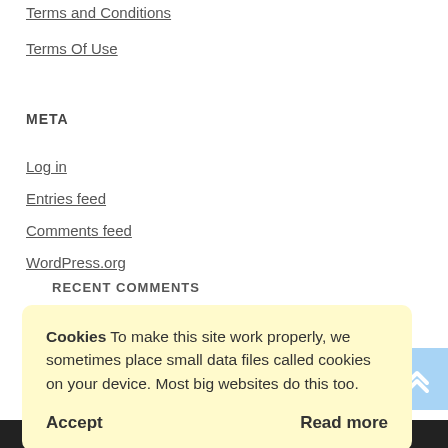Terms and Conditions
Terms Of Use
META
Log in
Entries feed
Comments feed
WordPress.org
RECENT COMMENTS
Cookies To make this site work properly, we sometimes place small data files called cookies on your device. Most big websites do this too.
Accept
Read more